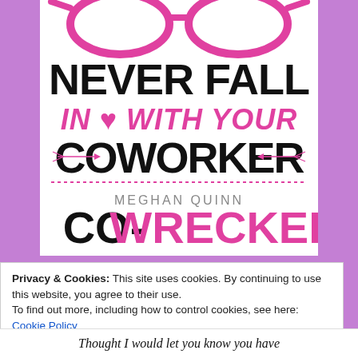[Figure (illustration): Book cover for 'Co-Wrecker' by Meghan Quinn — part of the 'Never Fall In Love With Your Coworker' series. Shows pink cat-eye glasses at top, large bold black text 'NEVER FALL', pink italic text 'IN ♥ WITH YOUR', large bold black text 'COWORKER' with decorative arrows, dotted line, author name 'MEGHAN QUINN', and large stylized text 'CO-WRECKER' in black and pink.]
Privacy & Cookies: This site uses cookies. By continuing to use this website, you agree to their use.
To find out more, including how to control cookies, see here: Cookie Policy
Close and accept
Thought I would let you know you have